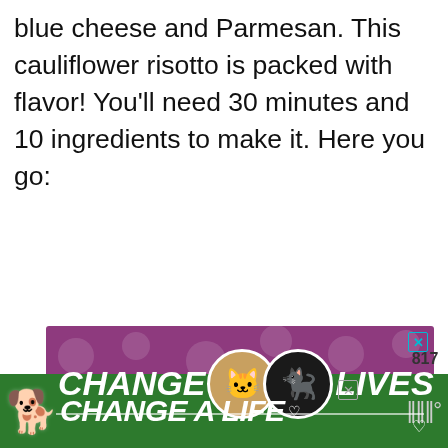blue cheese and Parmesan. This cauliflower risotto is packed with flavor! You'll need 30 minutes and 10 ingredients to make it. Here you go:
[Figure (screenshot): Purple banner advertisement with two cat faces (tabby and black cat) and bold white italic text reading 'CHANGE LIVES'. Has a close (X) button and heart icon.]
[Figure (screenshot): Sidebar UI elements: teal heart/like button, count '817', and share button.]
[Figure (screenshot): 'WHAT'S NEXT' recommendation widget showing 'Pears and Blue Cheese...']
[Figure (screenshot): Green bottom banner advertisement with dog image and bold italic text 'CHANGE A LIFE' with a heart icon and close button.]